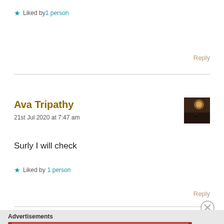★ Liked by 1 person
Reply
Ava Tripathy
21st Jul 2020 at 7:47 am
[Figure (photo): Small avatar thumbnail showing a silhouette photo at dusk/night]
Surly I will check
★ Liked by 1 person
Reply
Advertisements
[Figure (logo): Longreads advertisement banner: red background with Longreads logo and tagline 'The best stories on the web — ours, and everyone else's.']